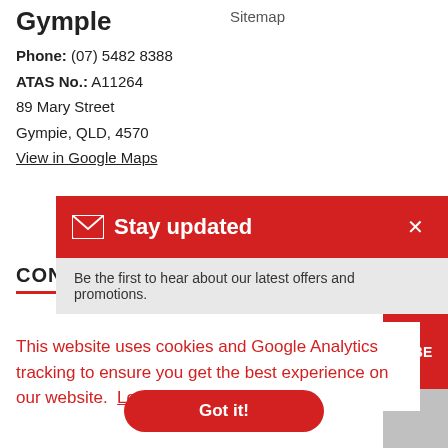Gymple
Sitemap
Phone: (07) 5482 8388
ATAS No.: A11264
89 Mary Street
Gympie, QLD, 4570
View in Google Maps
CON…
[Figure (infographic): Newsletter signup popup bar with envelope icon, 'Stay updated' heading in white on red background, and an X close button]
Be the first to hear about our latest offers and promotions.
RIBE
This website uses cookies and Google Analytics tracking to ensure you get the best experience on our website.  Learn more
Got it!